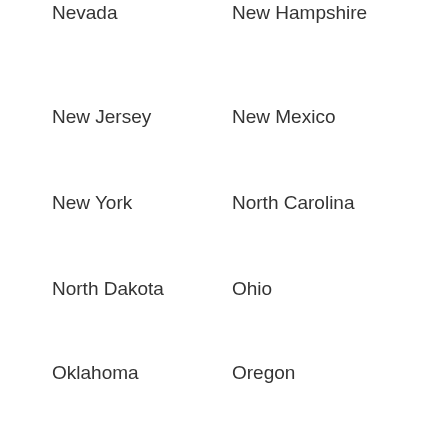Nevada
New Hampshire
New Jersey
New Mexico
New York
North Carolina
North Dakota
Ohio
Oklahoma
Oregon
Pennsylvania
Puerto Rico
Rhode Island
South Carolina
South Dakota
Tennessee
Texas
Utah